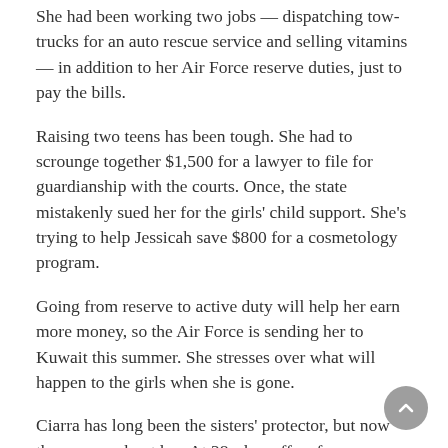She had been working two jobs — dispatching tow-trucks for an auto rescue service and selling vitamins — in addition to her Air Force reserve duties, just to pay the bills.
Raising two teens has been tough. She had to scrounge together $1,500 for a lawyer to file for guardianship with the courts. Once, the state mistakenly sued her for the girls' child support. She's trying to help Jessicah save $800 for a cosmetology program.
Going from reserve to active duty will help her earn more money, so the Air Force is sending her to Kuwait this summer. She stresses over what will happen to the girls when she is gone.
Ciarra has long been the sisters' protector, but now they worry about her. At 28, she suffers from debilitating type 1 diabetes that causes her to lose consciousness; she has landed in the hospital several times recently.
Hells last partial line text cut off...